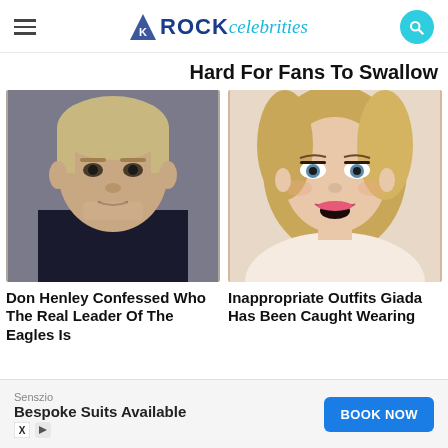ROCK celebrities
Hard For Fans To Swallow
[Figure (photo): Headshot of Don Henley, older man with light hair, serious expression, wearing dark jacket]
Don Henley Confessed Who The Real Leader Of The Eagles Is
[Figure (photo): Headshot of Giada De Laurentiis, woman with blonde hair, blue eyes, smiling, wearing light top]
Inappropriate Outfits Giada Has Been Caught Wearing
Senszio
Bespoke Suits Available
BOOK NOW